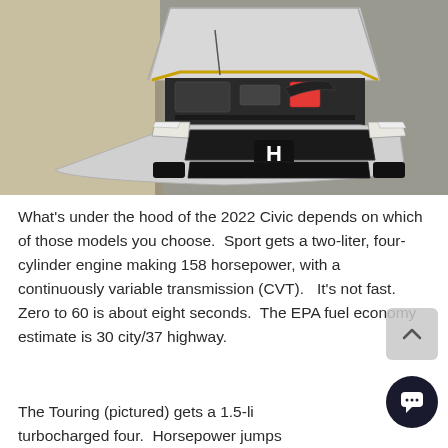[Figure (photo): Front view of a silver 2022 Honda Civic with hood open, showing engine bay, photographed from above/front on a parking lot surface. The car's front grille, Honda logo, and headlights are visible.]
What's under the hood of the 2022 Civic depends on which of those models you choose.  Sport gets a two-liter, four-cylinder engine making 158 horsepower, with a continuously variable transmission (CVT).   It's not fast.  Zero to 60 is about eight seconds.  The EPA fuel economy estimate is 30 city/37 highway.
The Touring (pictured) gets a 1.5-liter turbocharged four.  Horsepower jumps